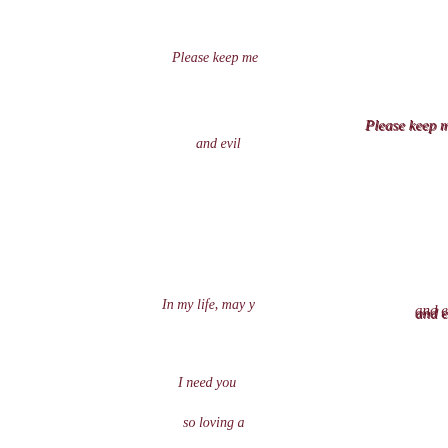Please keep me
and evil
In my life, may y
I need you
so loving a